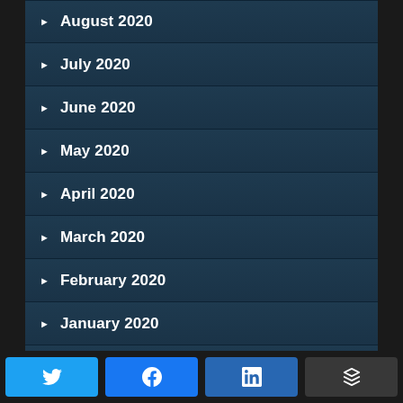August 2020
July 2020
June 2020
May 2020
April 2020
March 2020
February 2020
January 2020
December 2019
November 2019
[Figure (infographic): Social share buttons row: Twitter (blue), Facebook (blue), LinkedIn (blue), Buffer (dark grey)]